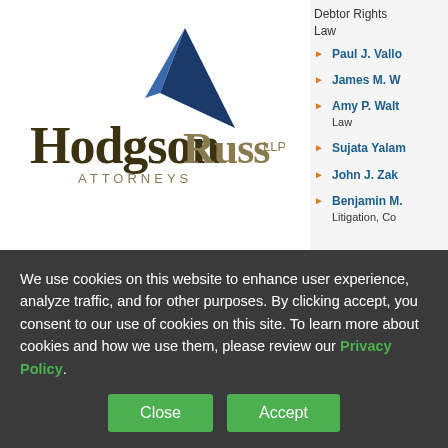[Figure (logo): Hodgson Russ LLP Attorneys logo with blue arrow/triangle graphic above the text]
WHY US
PROFESSIONALS
Debtor Rights Law
Paul J. Vallo
James M. W
Amy P. Walt Law
Sujata Yalam
John J. Zak
Benjamin M. Litigation, Co
We use cookies on this website to enhance user experience, analyze traffic, and for other purposes. By clicking accept, you consent to our use of cookies on this site. To learn more about cookies and how we use them, please review our Privacy Policy.